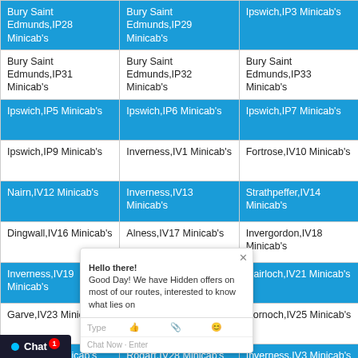| Bury Saint Edmunds,IP28 Minicab's | Bury Saint Edmunds,IP29 Minicab's | Ipswich,IP3 Minicab's |
| Bury Saint Edmunds,IP31 Minicab's | Bury Saint Edmunds,IP32 Minicab's | Bury Saint Edmunds,IP33 Minicab's |
| Ipswich,IP5 Minicab's | Ipswich,IP6 Minicab's | Ipswich,IP7 Minicab's |
| Ipswich,IP9 Minicab's | Inverness,IV1 Minicab's | Fortrose,IV10 Minicab's |
| Nairn,IV12 Minicab's | Inverness,IV13 Minicab's | Strathpeffer,IV14 Minicab's |
| Dingwall,IV16 Minicab's | Alness,IV17 Minicab's | Invergordon,IV18 Minicab's |
| Inverness,IV19 Minicab's | Tain,IV20 Minicab's | Gairloch,IV21 Minicab's |
| Garve,... | Ardgay,IV24 Minicab's | Dornoch,IV25 Minicab's |
| Lairg,... | Rogart,IV28 Minicab's | Inverness,IV3 Minicab's |
| ...h,IV31 Minicab's | Fochabers,IV32 Minicab's | Forres,IV36 Minicab's |